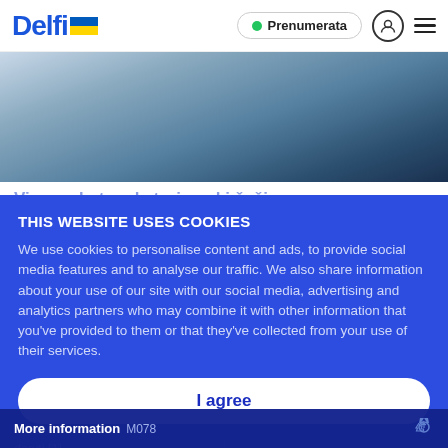Delfi — Prenumerata
[Figure (photo): Person in dark t-shirt, possibly sitting on a bed, photographed from chest level, blurred interior background]
Socialinis darbuotojas, kokių reta: įveikęs priklausomybę narkotikams, Andrejus padeda grįžti į gyvenimą kitiems
THIS WEBSITE USES COOKIES
We use cookies to personalise content and ads, to provide social media features and to analyse our traffic. We also share information about your use of our site with our social media, advertising and analytics partners who may combine it with other information that you've provided to them or that they've collected from your use of their services.
I agree
Ekspertų teigimu, pats blogiausias sprendimas – vaiko pinigus tiesiog pravalgyt, išleist pinka su jais verta daryti [1]
siausioje parodoje Vokietijoje – būtinės technikos inovacijos tvaresniam ir taupesniam gyvenimui
More information M078